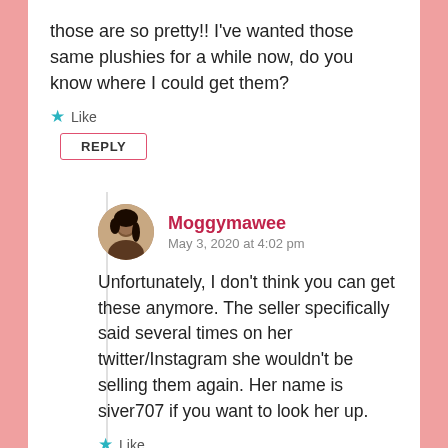those are so pretty!! I've wanted those same plushies for a while now, do you know where I could get them?
Like
REPLY
Moggymawee
May 3, 2020 at 4:02 pm
Unfortunately, I don't think you can get these anymore. The seller specifically said several times on her twitter/Instagram she wouldn't be selling them again. Her name is siver707 if you want to look her up.
Like
REPLY